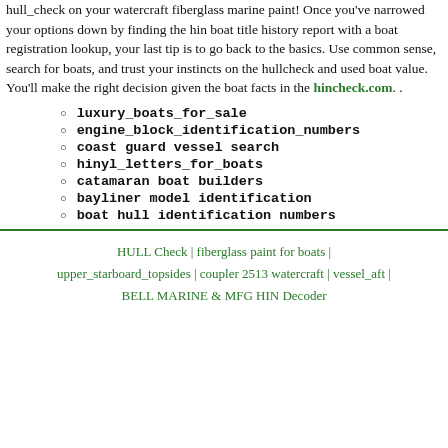hull_check on your watercraft fiberglass marine paint! Once you've narrowed your options down by finding the hin boat title history report with a boat registration lookup, your last tip is to go back to the basics. Use common sense, search for boats, and trust your instincts on the hullcheck and used boat value. You'll make the right decision given the boat facts in the hincheck.com. .
luxury_boats_for_sale
engine_block_identification_numbers
coast guard vessel search
hinyl_letters_for_boats
catamaran boat builders
bayliner model identification
boat hull identification numbers
HULL Check | fiberglass paint for boats | upper_starboard_topsides | coupler 2513 watercraft | vessel_aft | BELL MARINE & MFG HIN Decoder